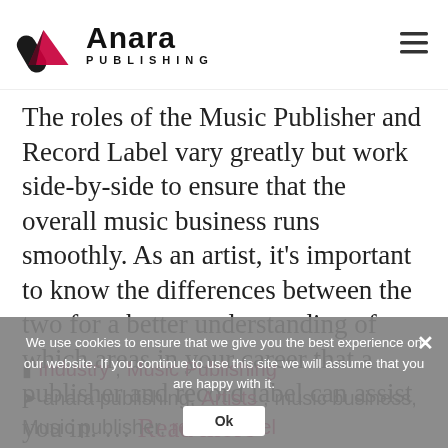Anara Publishing
The roles of the Music Publisher and Record Label vary greatly but work side-by-side to ensure that the overall music business runs smoothly. As an artist, it’s important to know the differences between the two for a better understanding of which areas in your career that a publisher and record label can assist you in. … Read more
We use cookies to ensure that we give you the best experience on our website. If you continue to use this site we will assume that you are happy with it.
Industry, Music Publishing
anara publishing, Artists, music business, Music publisher, record label